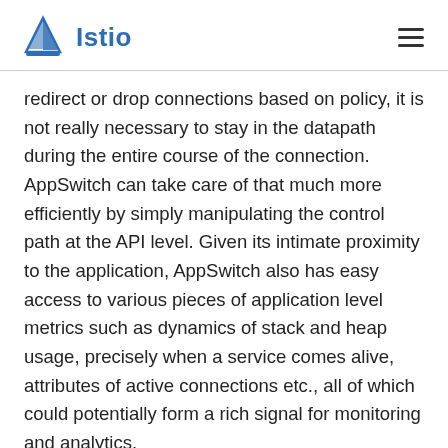Istio
redirect or drop connections based on policy, it is not really necessary to stay in the datapath during the entire course of the connection. AppSwitch can take care of that much more efficiently by simply manipulating the control path at the API level. Given its intimate proximity to the application, AppSwitch also has easy access to various pieces of application level metrics such as dynamics of stack and heap usage, precisely when a service comes alive, attributes of active connections etc., all of which could potentially form a rich signal for monitoring and analytics.
To support further AppSwitch plans for